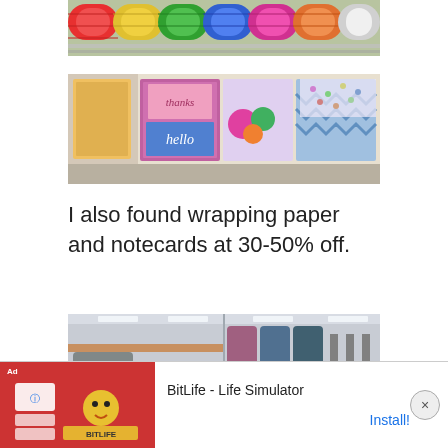[Figure (photo): Wrapping paper rolls on a retail store shelf, colorful patterns visible]
[Figure (photo): Notecards and stationery items displayed on a retail store shelf, colorful designs including 'hello' and 'thanks']
I also found wrapping paper and notecards at 30-50% off.
[Figure (photo): Retail store clearance section showing pillows and bags with a clearance 50% off sign]
[Figure (infographic): Advertisement for BitLife - Life Simulator app with Install button]